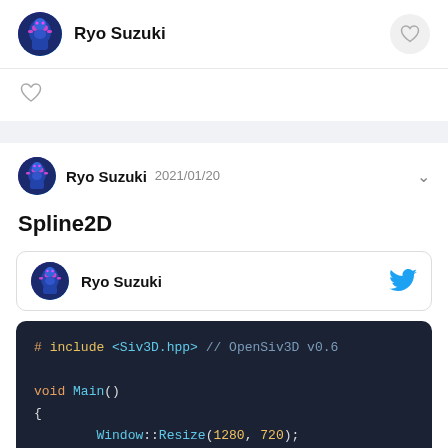Ryo Suzuki
Ryo Suzuki  2021/01/20
Spline2D
Ryo Suzuki
[Figure (screenshot): Dark code block showing C++ code: # include <Siv3D.hpp> // OpenSiv3D v0.6, void Main(), {, Window::Resize(1280, 720);, Scene::SetBackground(ColorF{ 0, 75, });]
# include <Siv3D.hpp> // OpenSiv3D v0.6

void Main()
{
        Window::Resize(1280, 720);
        Scene::SetBackground(ColorF{ 0, 75, });